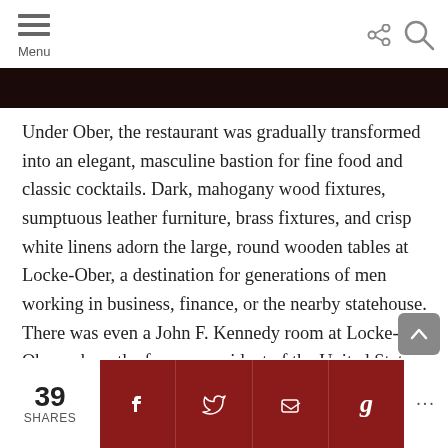Menu
[Figure (photo): Dark image strip at top of page, showing a dimly lit restaurant interior]
Under Ober, the restaurant was gradually transformed into an elegant, masculine bastion for fine food and classic cocktails. Dark, mahogany wood fixtures, sumptuous leather furniture, brass fixtures, and crisp white linens adorn the large, round wooden tables at Locke-Ober, a destination for generations of men working in business, finance, or the nearby statehouse. There was even a John F. Kennedy room at Locke-Ober, where the former president of the United States regularly ate and entertained guests.
39 SHARES